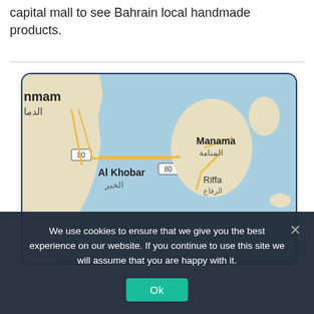capital mall to see Bahrain local handmade products.
[Figure (map): Google map showing Bahrain, with Al Khobar and Dammam on the left (Saudi Arabia side), and Manama, Riffa labeled on Bahrain island. Route 80 road marked. Label 'Bahrain' in bold at center-bottom of map.]
We use cookies to ensure that we give you the best experience on our website. If you continue to use this site we will assume that you are happy with it.